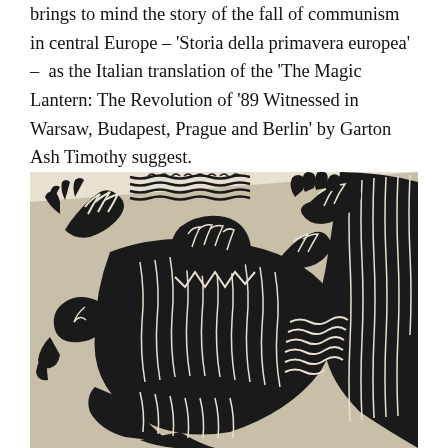brings to mind the story of the fall of communism in central Europe – 'Storia della primavera europea' –  as the Italian translation of the 'The Magic Lantern: The Revolution of '89 Witnessed in Warsaw, Budapest, Prague and Berlin' by Garton Ash Timothy suggest.
[Figure (illustration): A black and white woodcut-style print depicting abstracted human figures with raised arms in an expressionist style, set against a light beige background. The figures appear dynamic and angular, rendered in bold black with white line details.]